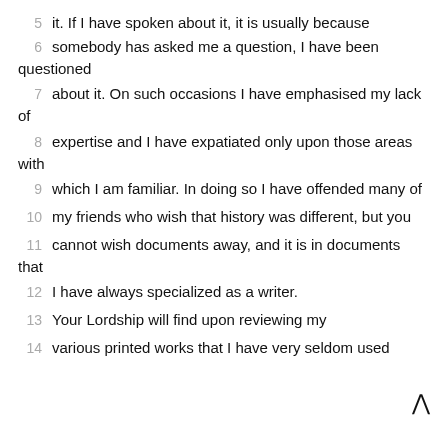5   it. If I have spoken about it, it is usually because
6   somebody has asked me a question, I have been questioned
7   about it. On such occasions I have emphasised my lack of
8   expertise and I have expatiated only upon those areas with
9   which I am familiar. In doing so I have offended many of
10  my friends who wish that history was different, but you
11  cannot wish documents away, and it is in documents that
12  I have always specialized as a writer.
13  Your Lordship will find upon reviewing my
14  various printed works that I have very seldom used